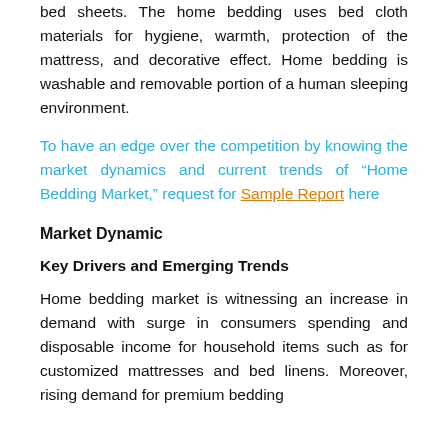bed sheets. The home bedding uses bed cloth materials for hygiene, warmth, protection of the mattress, and decorative effect. Home bedding is washable and removable portion of a human sleeping environment.
To have an edge over the competition by knowing the market dynamics and current trends of "Home Bedding Market," request for Sample Report here
Market Dynamic
Key Drivers and Emerging Trends
Home bedding market is witnessing an increase in demand with surge in consumers spending and disposable income for household items such as for customized mattresses and bed linens. Moreover, rising demand for premium bedding